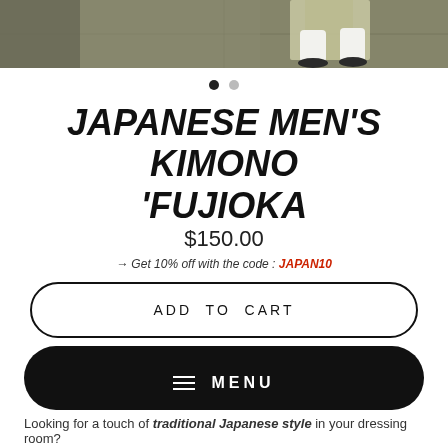[Figure (photo): Top portion of a person wearing a Japanese kimono with white socks and dark sandals, standing on tatami mat flooring. Only the lower legs/feet visible.]
● ○
JAPANESE MEN'S KIMONO 'FUJIOKA
$150.00
→ Get 10% off with the code : JAPAN10
ADD TO CART
≡ MENU
Looking for a touch of traditional Japanese style in your dressing room?